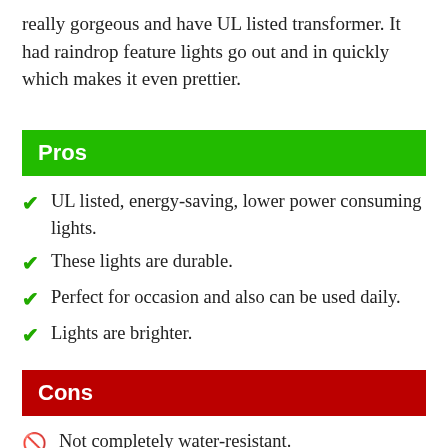really gorgeous and have UL listed transformer. It had raindrop feature lights go out and in quickly which makes it even prettier.
Pros
UL listed, energy-saving, lower power consuming lights.
These lights are durable.
Perfect for occasion and also can be used daily.
Lights are brighter.
Cons
Not completely water-resistant.